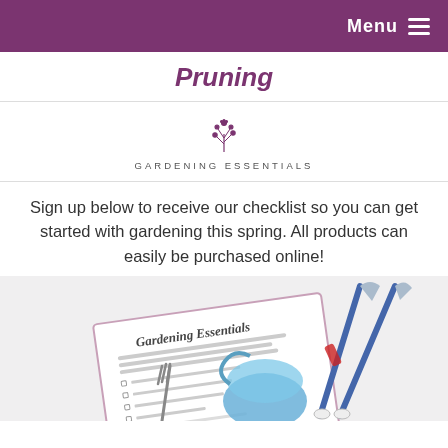Menu
Pruning
[Figure (logo): Gardening Essentials logo with decorative floral/plant icon above the text 'GARDENING ESSENTIALS']
Sign up below to receive our checklist so you can get started with gardening this spring. All products can easily be purchased online!
[Figure (photo): Photo of a gardening essentials checklist document, a blue watering can, garden tools, and long-handled pruning shears/loppers arranged together.]